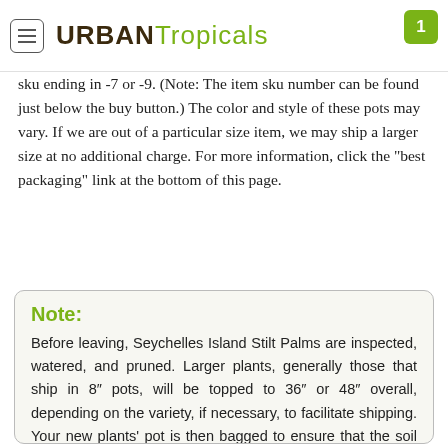URBAN Tropicals
sku ending in -7 or -9. (Note: The item sku number can be found just below the buy button.) The color and style of these pots may vary. If we are out of a particular size item, we may ship a larger size at no additional charge. For more information, click the “best packaging” link at the bottom of this page.
Note:
Before leaving, Seychelles Island Stilt Palms are inspected, watered, and pruned. Larger plants, generally those that ship in 8″ pots, will be topped to 36″ or 48″ overall, depending on the variety, if necessary, to facilitate shipping. Your new plants’ pot is then bagged to ensure that the soil stays in the pot and not loose in the box. Plants are tissue or kraft paper wrapped and generally secured in place with natural biodegradable peanuts.